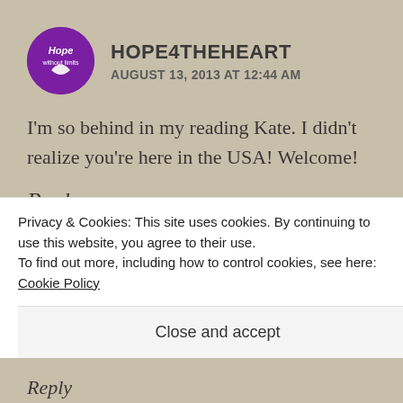HOPE4THEHEART
AUGUST 13, 2013 AT 12:44 AM
I'm so behind in my reading Kate. I didn't realize you're here in the USA! Welcome!
Reply
[Figure (photo): Avatar photo for KATESHREWSDAY commenter]
KATESHREWSDAY
Privacy & Cookies: This site uses cookies. By continuing to use this website, you agree to their use.
To find out more, including how to control cookies, see here: Cookie Policy
Close and accept
Reply